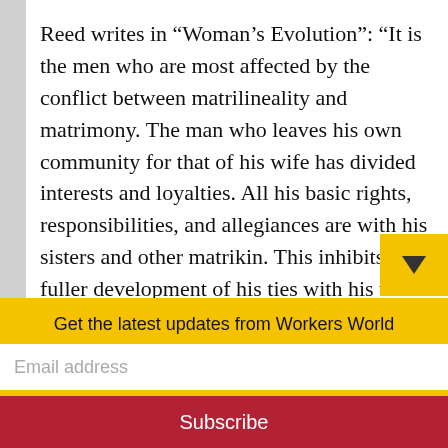Reed writes in “Woman’s Evolution”: “It is the men who are most affected by the conflict between matrilineality and matrimony. The man who leaves his own community for that of his wife has divided interests and loyalties. All his basic rights, responsibilities, and allegiances are with his sisters and other matrikin. This inhibits the fuller development of his ties with his wife and her children.” (New York: Pathfinder Press, 1975, pp. 319-320)
Get the latest updates from Workers World
Email address
Subscribe